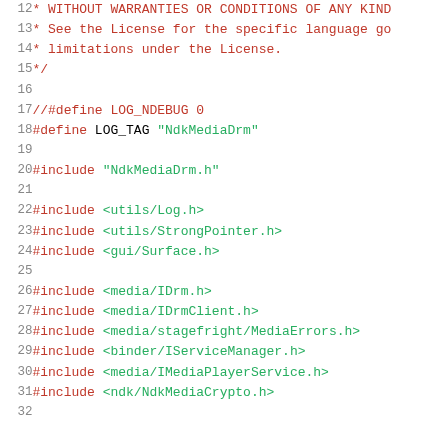12   * WITHOUT WARRANTIES OR CONDITIONS OF ANY KIND
13   * See the License for the specific language go
14   * limitations under the License.
15   */
16
17   //#define LOG_NDEBUG 0
18   #define LOG_TAG "NdkMediaDrm"
19
20   #include "NdkMediaDrm.h"
21
22   #include <utils/Log.h>
23   #include <utils/StrongPointer.h>
24   #include <gui/Surface.h>
25
26   #include <media/IDrm.h>
27   #include <media/IDrmClient.h>
28   #include <media/stagefright/MediaErrors.h>
29   #include <binder/IServiceManager.h>
30   #include <media/IMediaPlayerService.h>
31   #include <ndk/NdkMediaCrypto.h>
32